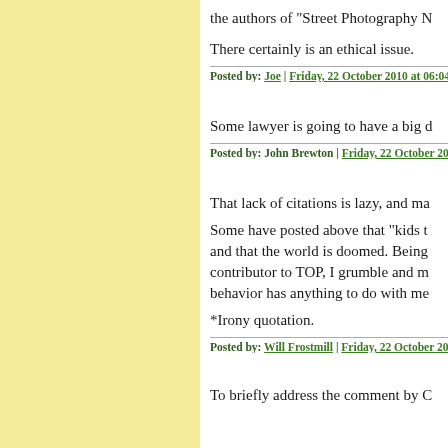the authors of "Street Photography N
There certainly is an ethical issue.
Posted by: Joe | Friday, 22 October 2010 at 06:04 PM
Some lawyer is going to have a big d
Posted by: John Brewton | Friday, 22 October 2010 at
That lack of citations is lazy, and ma
Some have posted above that "kids t and that the world is doomed. Being contributor to TOP, I grumble and m behavior has anything to do with me
*Irony quotation.
Posted by: Will Frostmill | Friday, 22 October 2010 at
To briefly address the comment by C